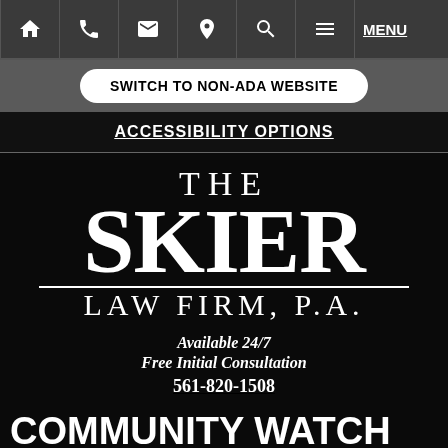Navigation bar with icons: home, phone, email, location, search, menu, MENU
SWITCH TO NON-ADA WEBSITE
ACCESSIBILITY OPTIONS
[Figure (logo): The Skier Law Firm, P.A. logo — white serif text on black background]
Available 24/7
Free Initial Consultation
561-820-1508
COMMUNITY WATCH MISTAKES